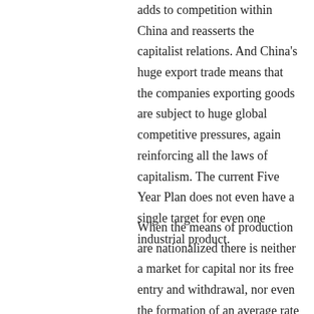adds to competition within China and reasserts the capitalist relations. And China's huge export trade means that the companies exporting goods are subject to huge global competitive pressures, again reinforcing all the laws of capitalism. The current Five Year Plan does not even have a single target for even one industrial product.
When the means of production are nationalized there is neither a market for capital nor its free entry and withdrawal, nor even the formation of an average rate of profit with which the rate of each particular branch can be compared, clearly there is no longer a possibility for the “law of value” to